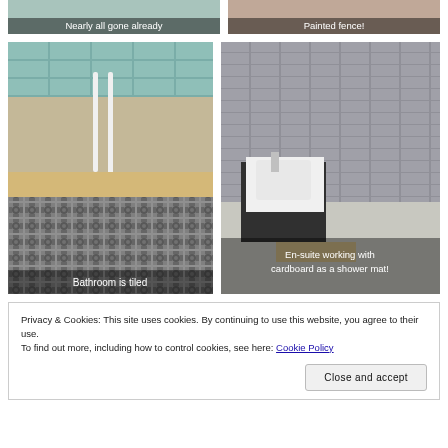[Figure (photo): Partial top row: left photo 'Nearly all gone already', right photo 'Painted fence!']
[Figure (photo): Bathroom floor with decorative patterned tiles and wall pipes visible, caption: 'Bathroom is tiled']
[Figure (photo): En-suite bathroom with grey brick tiles, white sink vanity and cardboard on floor, caption: 'En-suite working with cardboard as a shower mat!']
Privacy & Cookies: This site uses cookies. By continuing to use this website, you agree to their use.
To find out more, including how to control cookies, see here: Cookie Policy
Close and accept